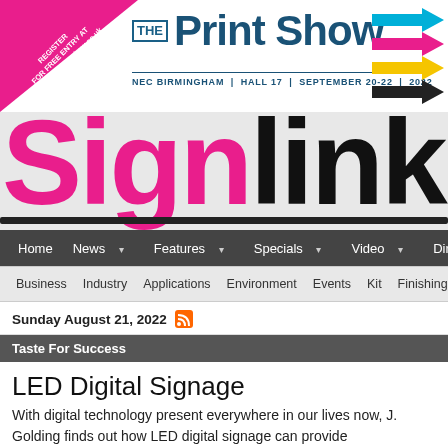[Figure (logo): The Print Show banner ad with pink triangle register prompt, logo, CMYK arrows, and NEC Birmingham September 20-22 2022 tagline]
[Figure (logo): Signlink magazine masthead logo in pink and black on grey background]
Home | News | Features | Specials | Video | Directory
Business | Industry | Applications | Environment | Events | Kit | Finishing
Sunday August 21, 2022
Taste For Success
LED Digital Signage
With digital technology present everywhere in our lives now, J. Golding finds out how LED digital signage can provide